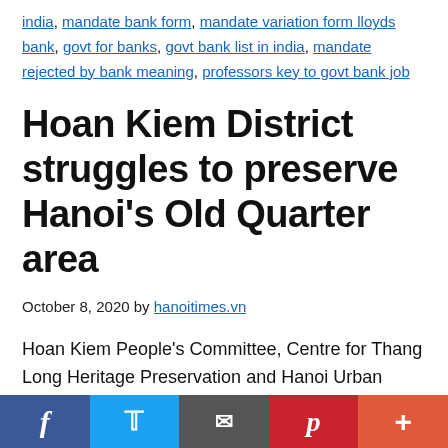india, mandate bank form, mandate variation form lloyds bank, govt for banks, govt bank list in india, mandate rejected by bank meaning, professors key to govt bank job
Hoan Kiem District struggles to preserve Hanoi's Old Quarter area
October 8, 2020 by hanoitimes.vn
Hoan Kiem People's Committee, Centre for Thang Long Heritage Preservation and Hanoi Urban Planning and Development Association co-held a